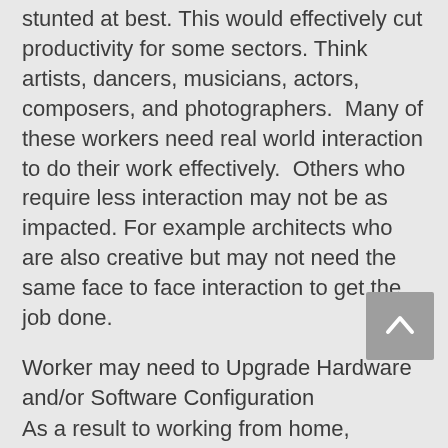stunted at best. This would effectively cut productivity for some sectors. Think artists, dancers, musicians, actors, composers, and photographers.  Many of these workers need real world interaction to do their work effectively.  Others who require less interaction may not be as impacted. For example architects who are also creative but may not need the same face to face interaction to get the job done.
Worker may need to Upgrade Hardware and/or Software Configuration
As a result to working from home, workers may need upgrades to existing computers to run corporate